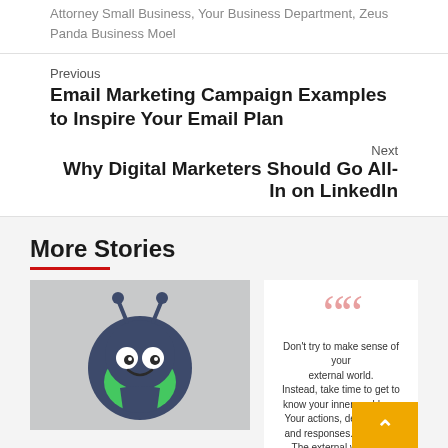Attorney Small Business, Your Business Department, Zeus Panda Business Moel
Previous
Email Marketing Campaign Examples to Inspire Your Email Plan
Next
Why Digital Marketers Should Go All-In on LinkedIn
More Stories
[Figure (illustration): A cartoon alien/robot character with a round green body, circular white eyes with dark pupils, antennae, and a dark shield-shaped chest plate on a light grey background.]
[Figure (infographic): A quote card with large pink quotation marks and text: Don't try to make sense of your external world. Instead, take time to get to know your inner world, yo. Your actions, decisions, h and responses. Your algo The external world will. A yellow/orange scroll-to-top button overlaps the bottom right corner.]